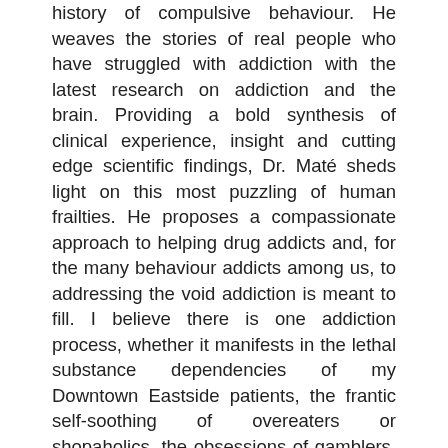history of compulsive behaviour. He weaves the stories of real people who have struggled with addiction with the latest research on addiction and the brain. Providing a bold synthesis of clinical experience, insight and cutting edge scientific findings, Dr. Maté sheds light on this most puzzling of human frailties. He proposes a compassionate approach to helping drug addicts and, for the many behaviour addicts among us, to addressing the void addiction is meant to fill. I believe there is one addiction process, whether it manifests in the lethal substance dependencies of my Downtown Eastside patients, the frantic self-soothing of overeaters or shopaholics, the obsessions of gamblers, sexaholics and compulsive internet users, or in the socially acceptable and even admired behaviours of the workaholic. Drug addicts are often